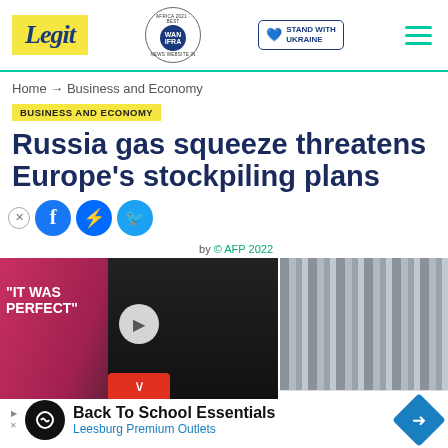Legit | WAN IFRA Best News Website in Africa 2021 | Stand With Ukraine
Home → Business and Economy
BUSINESS AND ECONOMY
Russia gas squeeze threatens Europe's stockpiling plans
[Figure (screenshot): Social sharing icons: close (X), Facebook, Messenger, Twitter]
[Figure (screenshot): Video overlay showing 'IT WAS PERFECT' text with two people, a play button, and a red chevron-down button]
by © AFP 2022
[Figure (photo): Building facade photograph, grey tones, industrial structure]
[Figure (infographic): Advertisement: Back To School Essentials - Leesburg Premium Outlets]